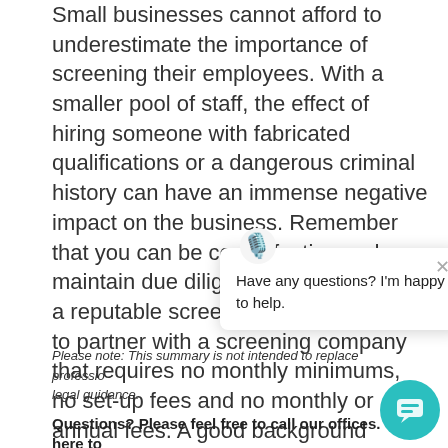Small businesses cannot afford to underestimate the importance of screening their employees. With a smaller pool of staff, the effect of hiring someone with fabricated qualifications or a dangerous criminal history can have an immense negative impact on the business. Remember that you can be cost effective and maintain due diligence by working with a reputable screening company. Look to partner with a screening company that requires no monthly minimums, no set-up fees and no monthly or annual fees. A good background screening vendor will also provide information and the tools to comply with state and federal law a…
[Figure (screenshot): Chat popup overlay with a robot/microphone icon, close button (×), and text 'Have any questions? I'm happy to help.']
Please note: This summary is not intended to replace professional legal guidance.
Questions? Please feel free to call our offices. We're here to